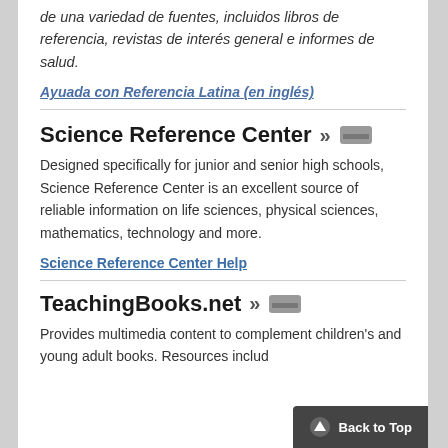de una variedad de fuentes, incluidos libros de referencia, revistas de interés general e informes de salud.
Ayuada con Referencia Latina (en inglés)
Science Reference Center »
Designed specifically for junior and senior high schools, Science Reference Center is an excellent source of reliable information on life sciences, physical sciences, mathematics, technology and more.
Science Reference Center Help
TeachingBooks.net »
Provides multimedia content to complement children's and young adult books. Resources includ